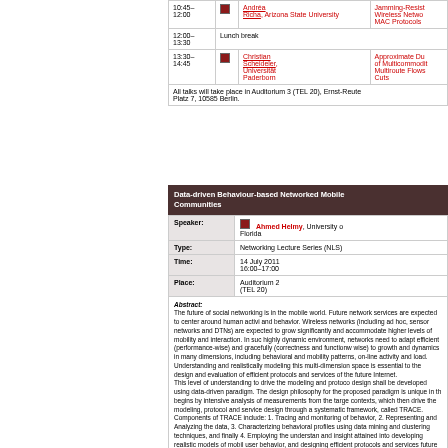| Time |  | Speaker | Topic |
| --- | --- | --- | --- |
| 10:45–
12:00 | [icon] | Andréa Richa, Arizona State University | Jamming-Resistant Wireless Network MAC Protocols |
| 12:00–
13:30 |  | Lunch break |  |
| 13:30–
14:45 | [icon] | Christian Scheideler, Universität Paderborn | Approximate Dual of Multicommodity Multiroute Flows and Cuts |
All talks will take place in Auditorium 3 (TEL 20), Ernst-Reuter-Platz 7, 10585 Berlin.
Data-driven Behaviour-based Networked Mobile Communities
| Label | Value |
| --- | --- |
| Speaker: | Ahmed Helmy, University of Florida |
| Type: | Networking Lecture Series (NLS) |
| Time: | 14 July 2011
16:00–17:00 |
| Place: | Auditorium 2
(TEL 20) |
Abstract:
The future of social networking is in the mobile world. Future network services are expected to center around human activity and behavior. Wireless networks (including ad hoc, sensor networks and DTNs) are expected to grow significantly and accommodate higher levels of mobility and interaction. In such a highly dynamic environment, networks need to adapt efficiently (performance-wise) and gracefully (correctness and functionality-wise) to growth and dynamics in many dimensions, including behavioral and mobility patterns, on-line activity and load. Understanding and realistically modeling this multi-dimensional space is essential to the design and evaluation of efficient protocols and services of the future Internet. This level of understanding to drive the modeling and protocol design shall be developed using data-driven paradigm. The design philosophy for the proposed paradigm is unique in that it begins by intensive analysis of measurements from the target contexts, which then drive the modeling, protocol and service design through a systematic framework, called TRACE. Components of TRACE include: 1. Tracing and monitoring of behavior, 2. Representing and Analyzing the data, 3. Characterizing behavioral profiles using data mining and clustering techniques, and finally 4. Employing the understanding and insight attained into developing realistic models of mobile user behavior, and designing efficient protocols and services for future mobile societies.